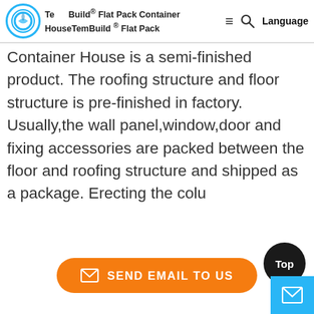TemBuild® Flat Pack Container HouseTemBuild ® Flat Pack
Container House is a semi-finished product. The roofing structure and floor structure is pre-finished in factory. Usually,the wall panel,window,door and fixing accessories are packed between the floor and roofing structure and shipped as a package. Erecting the colu
[Figure (other): Orange rounded button with envelope icon and text 'SEND EMAIL TO US']
[Figure (other): Dark circular 'Top' back-to-top button in bottom right corner]
[Figure (other): Light blue mail/envelope icon button in bottom right corner]